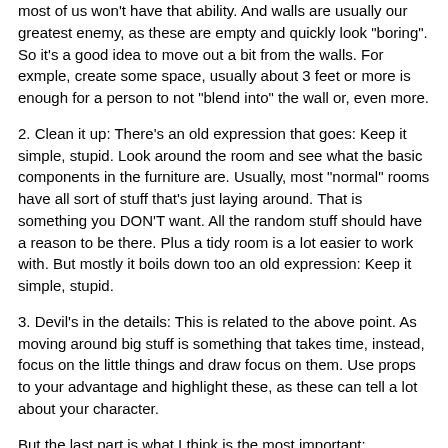most of us won't have that ability. And walls are usually our greatest enemy, as these are empty and quickly look "boring". So it's a good idea to move out a bit from the walls. For exmple, create some space, usually about 3 feet or more is enough for a person to not "blend into" the wall or, even more.
2. Clean it up: There's an old expression that goes: Keep it simple, stupid. Look around the room and see what the basic components in the furniture are. Usually, most "normal" rooms have all sort of stuff that's just laying around. That is something you DON'T want. All the random stuff should have a reason to be there. Plus a tidy room is a lot easier to work with. But mostly it boils down too an old expression: Keep it simple, stupid.
3. Devil's in the details: This is related to the above point. As moving around big stuff is something that takes time, instead, focus on the little things and draw focus on them. Use props to your advantage and highlight these, as these can tell a lot about your character.
But the last part is what I think is the most important:
4. Try to get an atmosphere: While it sounds silly, most people will accept the more you do if the atmosphere you want to capture is spot on! This is easier than one might think, but usually just adding some light/color, an object or some movement can make it all the more interesting. For example a TV-bumper I was AC'ing they had a pinball machine that when it